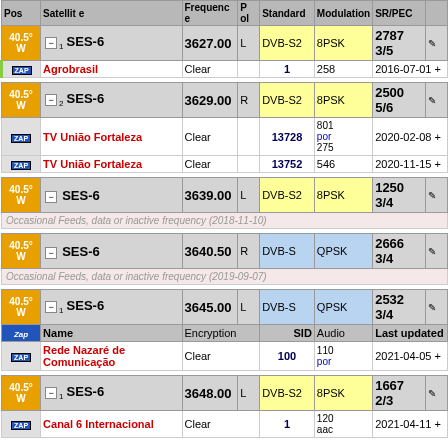| Pos | Satellite | Frequence | Pol | Standard | Modulation | SR/FEC |  |
| --- | --- | --- | --- | --- | --- | --- | --- |
| 40.5°W | SES-6 | 3627.00 | L | DVB-S2 | 8PSK | 2787 3/5 |  |
|  | Agrobrasil | Clear |  | 1 | 258 | 2016-07-01 + |  |
| 40.5°W | SES-6 | 3629.00 | R | DVB-S2 | 8PSK | 2500 5/6 |  |
|  | TV União Fortaleza | Clear |  | 13728 | 801 por 275 | 2020-02-08 + |  |
|  | TV União Fortaleza | Clear |  | 13752 | 546 | 2020-11-15 + |  |
| 40.5°W | SES-6 | 3639.00 | L | DVB-S2 | 8PSK | 1250 3/4 |  |
|  | Occasional Feeds, data or inactive frequency (2018-11-10) |  |  |  |  |  |  |
| 40.5°W | SES-6 | 3640.50 | R | DVB-S | QPSK | 2666 3/4 |  |
|  | Occasional Feeds, data or inactive frequency (2019-09-07) |  |  |  |  |  |  |
| 40.5°W | SES-6 | 3645.00 | L | DVB-S | QPSK | 2532 3/4 |  |
|  | Name | Encryption | SID | Audio | Last updated |  |  |
|  | Rede Nazaré de Comunicação | Clear | 100 | 110 por | 2021-04-05 + |  |  |
| 40.5°W | SES-6 | 3648.00 | L | DVB-S2 | 8PSK | 1667 2/3 |  |
|  | Canal 6 Internacional | Clear | 1 | 120 aac | 2021-04-11 + |  |  |